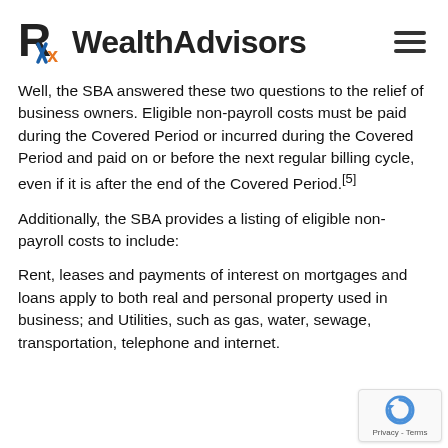Rx Wealth Advisors
Well, the SBA answered these two questions to the relief of business owners. Eligible non-payroll costs must be paid during the Covered Period or incurred during the Covered Period and paid on or before the next regular billing cycle, even if it is after the end of the Covered Period.[5]
Additionally, the SBA provides a listing of eligible non-payroll costs to include:
Rent, leases and payments of interest on mortgages and loans apply to both real and personal property used in business; and Utilities, such as gas, water, sewage, transportation, telephone and internet.
[Figure (logo): reCAPTCHA badge with Privacy - Terms text]